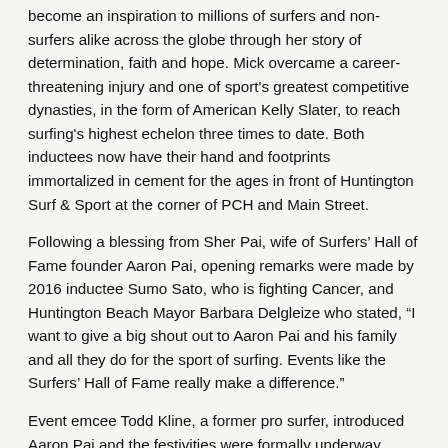become an inspiration to millions of surfers and non-surfers alike across the globe through her story of determination, faith and hope. Mick overcame a career-threatening injury and one of sport's greatest competitive dynasties, in the form of American Kelly Slater, to reach surfing's highest echelon three times to date. Both inductees now have their hand and footprints immortalized in cement for the ages in front of Huntington Surf & Sport at the corner of PCH and Main Street.
Following a blessing from Sher Pai, wife of Surfers' Hall of Fame founder Aaron Pai, opening remarks were made by 2016 inductee Sumo Sato, who is fighting Cancer, and Huntington Beach Mayor Barbara Delgleize who stated, “I want to give a big shout out to Aaron Pai and his family and all they do for the sport of surfing. Events like the Surfers’ Hall of Fame really make a difference.”
Event emcee Todd Kline, a former pro surfer, introduced Aaron Pai and the festivities were formally underway. Aaron then greeted the industry, surfing royalty, dignitaries and the inductees themselves. “Styled after the Grauman’s Chinese